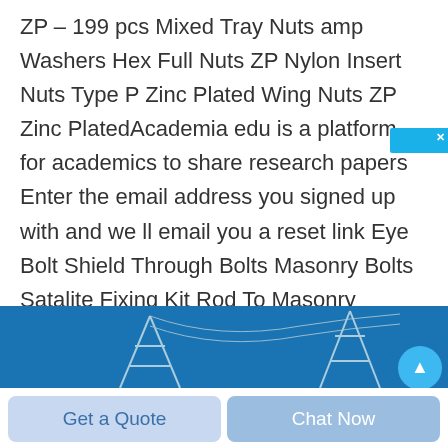ZP – 199 pcs Mixed Tray Nuts amp Washers Hex Full Nuts ZP Nylon Insert Nuts Type P Zinc Plated Wing Nuts ZP Zinc PlatedAcademia edu is a platform for academics to share research papers Enter the email address you signed up with and we ll email you a reset link Eye Bolt Shield Through Bolts Masonry Bolts Satalite Fixing Kit Rod To Masonry Screws Wedge Drop In Anchors Setting Tools Lipped Drop In Anchors Wire Hangers Wall Plugs Banding Cable Guard Safe Plate
[Figure (photo): Blue banner image showing electrical transmission towers and lines against a blue sky, with a circular button element on the right side]
Get a Quote
Chat Now